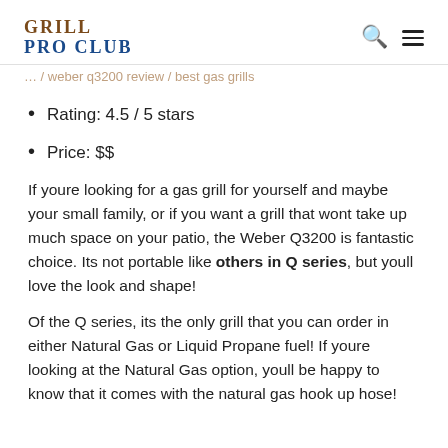GRILL PRO CLUB
[faded breadcrumb/navigation text]
Rating: 4.5 / 5 stars
Price: $$
If youre looking for a gas grill for yourself and maybe your small family, or if you want a grill that wont take up much space on your patio, the Weber Q3200 is fantastic choice. Its not portable like others in Q series, but youll love the look and shape!
Of the Q series, its the only grill that you can order in either Natural Gas or Liquid Propane fuel! If youre looking at the Natural Gas option, youll be happy to know that it comes with the natural gas hook up hose!